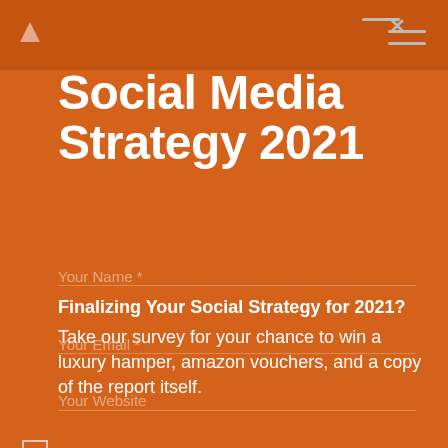[Figure (screenshot): Orange background webpage screenshot showing Social Media Strategy 2021 survey form with navigation bar at top, title text, descriptive text about survey prize, and two white rounded input fields for name and email]
Social Media Strategy 2021
Finalizing Your Social Strategy for 2021?
Take our survey for your chance to win a luxury hamper, amazon vouchers, and a copy of the report itself.
Enter your name here…
Enter your email address here